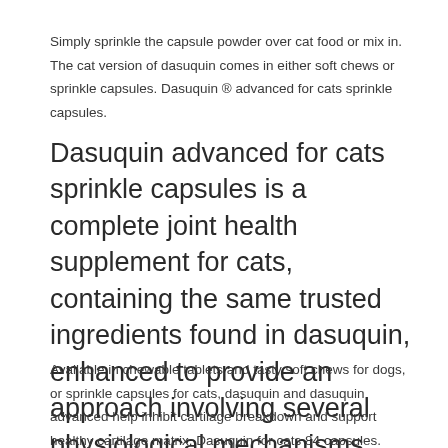Simply sprinkle the capsule powder over cat food or mix in. The cat version of dasuquin comes in either soft chews or sprinkle capsules. Dasuquin ® advanced for cats sprinkle capsules.
Dasuquin advanced for cats sprinkle capsules is a complete joint health supplement for cats, containing the same trusted ingredients found in dasuquin, enhanced to provide an approach involving several physiological mechanisms helping to support and protect a cat's joint health.
Available in chewable tablets and tasty soft chews for dogs, or sprinkle capsules for cats, dasuquin and dasuquin advanced help inhibit cartilage breakdown and support healthy cartilage matrix. Dasuquin for cats 84 capsules. Dasuquin advanced the our most